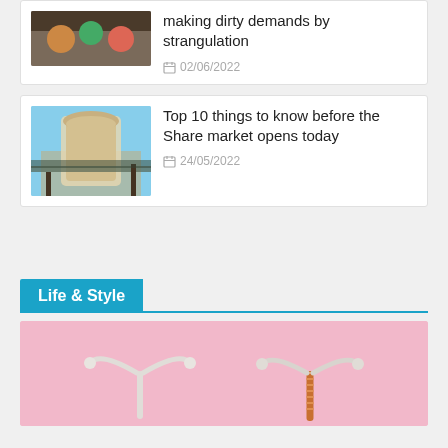making dirty demands by strangulation
02/06/2022
Top 10 things to know before the Share market opens today
24/05/2022
Life & Style
[Figure (photo): Two IUD contraceptive devices on a pink background]